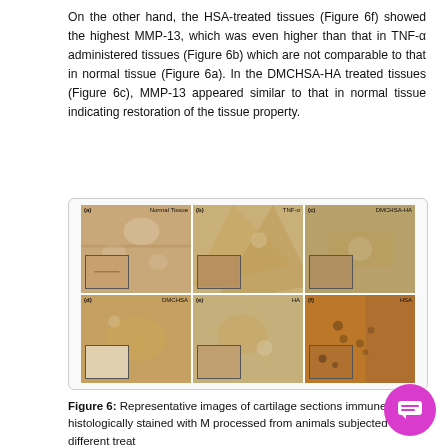On the other hand, the HSA-treated tissues (Figure 6f) showed the highest MMP-13, which was even higher than that in TNF-α administered tissues (Figure 6b) which are not comparable to that in normal tissue (Figure 6a). In the DMCHSA-HA treated tissues (Figure 6c), MMP-13 appeared similar to that in normal tissue indicating restoration of the tissue property.
[Figure (photo): Representative microscopy images of cartilage sections showing MMP-13 immunohistological staining. Six panels arranged in 2 rows × 3 columns: (a) Normal Tissue, (b) TNF-α, (c) DMCHSA-HA, (d) DMCHSA, (e) HA, (f) HSA. Each panel shows tissue at two magnifications with an inset of higher magnification.]
Figure 6: Representative images of cartilage sections immune-histologically stained with M processed from animals subjected to different treat